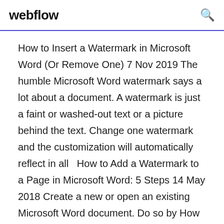webflow
How to Insert a Watermark in Microsoft Word (Or Remove One) 7 Nov 2019 The humble Microsoft Word watermark says a lot about a document. A watermark is just a faint or washed-out text or a picture behind the text. Change one watermark and the customization will automatically reflect in all  How to Add a Watermark to a Page in Microsoft Word: 5 Steps 14 May 2018 Create a new or open an existing Microsoft Word document. Do so by How do I make a watermark in MS Word for a picture? How do I rotate  Word Add Watermark - Add Watermark to Word File Online Free Free Online WORD Add Watermark. DocSoSo -- Feee